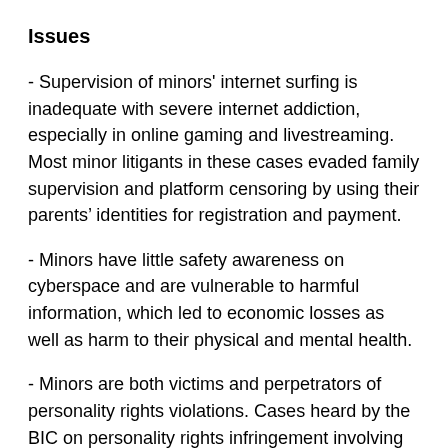Issues
- Supervision of minors' internet surfing is inadequate with severe internet addiction, especially in online gaming and livestreaming. Most minor litigants in these cases evaded family supervision and platform censoring by using their parents’ identities for registration and payment.
- Minors have little safety awareness on cyberspace and are vulnerable to harmful information, which led to economic losses as well as harm to their physical and mental health.
- Minors are both victims and perpetrators of personality rights violations. Cases heard by the BIC on personality rights infringement involving minors included online bullying, as well as the infringement of